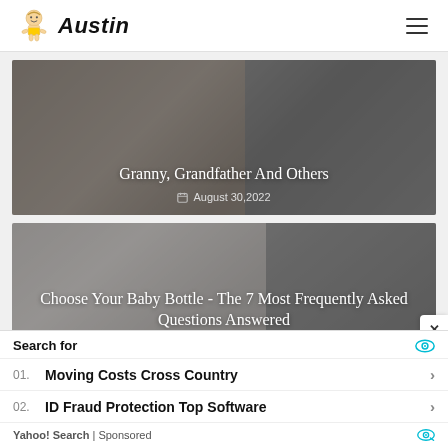Austin
[Figure (photo): Article card with elderly person holding a baby, overlay with title 'Granny, Grandfather And Others' and date August 30,2022]
Granny, Grandfather And Others
August 30,2022
[Figure (photo): Article card with baby photo, overlay with title 'Choose Your Baby Bottle - The 7 Most Frequently Asked Questions Answered']
Choose Your Baby Bottle - The 7 Most Frequently Asked Questions Answered
Search for
01. Moving Costs Cross Country
02. ID Fraud Protection Top Software
Yahoo! Search | Sponsored